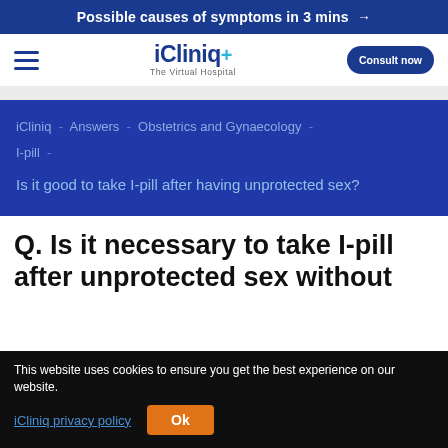Possible causes of symptoms in 3 mins →
[Figure (logo): iCliniq+ The Virtual Hospital logo with hamburger menu and Consult now button]
iCliniq - Answers - Obstetrics and Gynaecology - I-pill -
Is it good to take I-pill after having unprotected sex?
Q. Is it necessary to take I-pill after unprotected sex without
This website uses cookies to ensure you get the best experience on our website. iCliniq privacy policy Ok